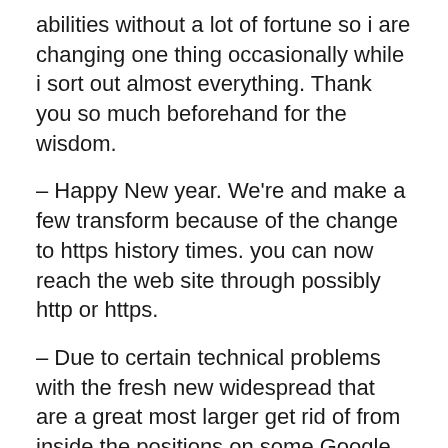abilities without a lot of fortune so i are changing one thing occasionally while i sort out almost everything. Thank you so much beforehand for the wisdom.
– Happy New year. We're and make a few transform because of the change to https history times. you can now reach the web site through possibly http or https.
– Due to certain technical problems with the fresh new widespread that are a great most larger get rid of from inside the positions on some Google just like the much as 100 % free cam terminology go after the alteration in order to https, our company is changing back to As soon as we make this the sorted we will return to this new https:// version. Thanks for your persistence. However, actually without having any https:// Camfoxes has been the best place to choose Free Adult cams, ooops, create you to 100 % free Adult Web…